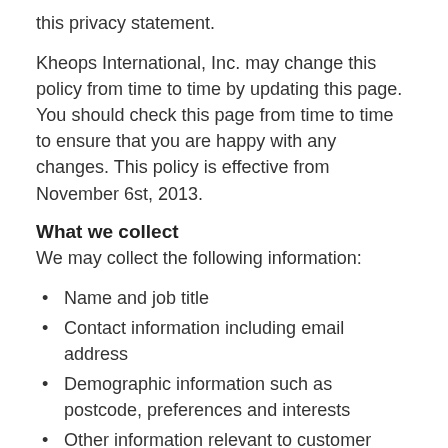this privacy statement.
Kheops International, Inc. may change this policy from time to time by updating this page. You should check this page from time to time to ensure that you are happy with any changes. This policy is effective from November 6st, 2013.
What we collect
We may collect the following information:
Name and job title
Contact information including email address
Demographic information such as postcode, preferences and interests
Other information relevant to customer surveys and/or offers
What we do with the information we gather
We require this information to understand your